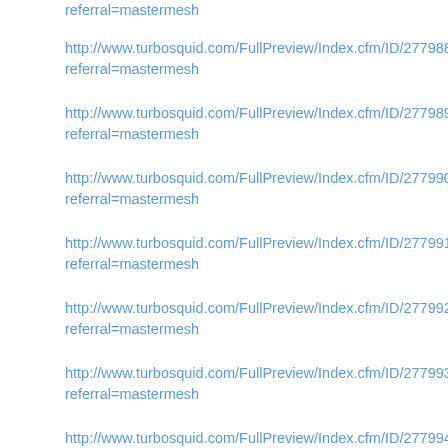referral=mastermesh
http://www.turbosquid.com/FullPreview/Index.cfm/ID/277988scrapes referral=mastermesh
http://www.turbosquid.com/FullPreview/Index.cfm/ID/277989scrapes referral=mastermesh
http://www.turbosquid.com/FullPreview/Index.cfm/ID/277990scrapes referral=mastermesh
http://www.turbosquid.com/FullPreview/Index.cfm/ID/277991scrapes referral=mastermesh
http://www.turbosquid.com/FullPreview/Index.cfm/ID/277992scrapes referral=mastermesh
http://www.turbosquid.com/FullPreview/Index.cfm/ID/277993scrapes referral=mastermesh
http://www.turbosquid.com/FullPreview/Index.cfm/ID/277994scrapes referral=mastermesh
Privacy & Cookies: This site uses cookies. By continuing to use this website, you agree to their use. To find out more, including how to control cookies, see here: Cookie Policy
http://www.turbosquid.com/FullPreview/Index.cfm/ID/277998scr...